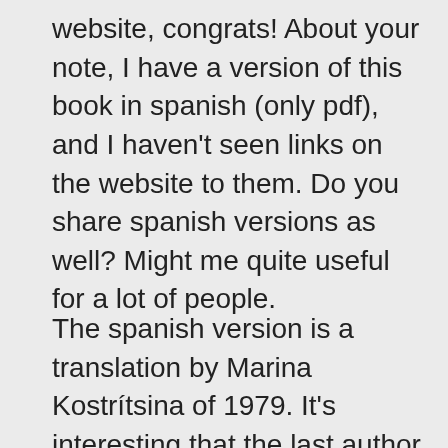website, congrats! About your note, I have a version of this book in spanish (only pdf), and I haven't seen links on the website to them. Do you share spanish versions as well? Might me quite useful for a lot of people.
The spanish version is a translation by Marina Kostrítsina of 1979. It's interesting that the last author listed on the english version is here listed as I. M. Saráeva, which explains why